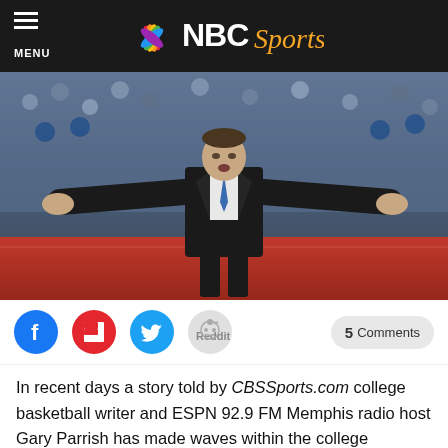NBC Sports
[Figure (photo): Basketball coach in black suit with blue tie, arms spread wide in a gesture, standing on sideline in front of a crowd]
5 Comments
In recent days a story told by CBSSports.com college basketball writer and ESPN 92.9 FM Memphis radio host Gary Parrish has made waves within the college basketball world, as it focused on a recruiting battle won by Kentucky head coach John Calipari three years ago.